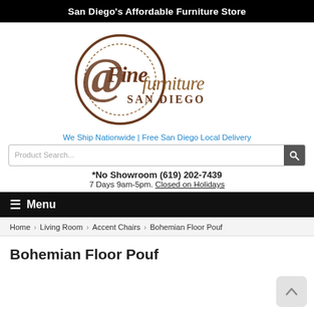San Diego's Affordable Furniture Store
[Figure (logo): Fine Furniture San Diego logo — circular brown/gold script with 'Finefurniture SAN DIEGO' text]
We Ship Nationwide | Free San Diego Local Delivery
Product Search...
*No Showroom (619) 202-7439
7 Days 9am-5pm. Closed on Holidays
≡ Menu
Home > Living Room > Accent Chairs > Bohemian Floor Pouf
Bohemian Floor Pouf